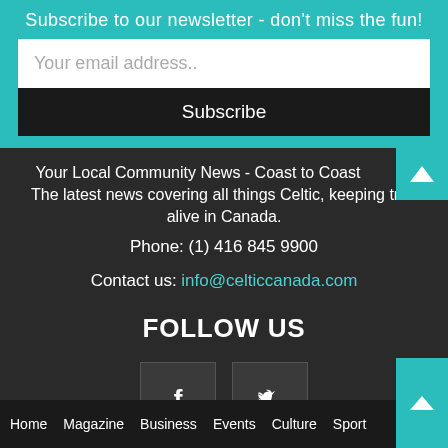Subscribe to our newsletter - don't miss the fun!
Your email address..
Subscribe
Your Local Community News - Coast to Coast
The latest news covering all things Celtic, keeping trad alive in Canada.
Phone: (1) 416 845 9900
Contact us: info@celticcanada.com
FOLLOW US
[Figure (illustration): Facebook icon (f) in a square box]
[Figure (illustration): Twitter/X bird icon in a square box]
Home   Magazine   Business   Events   Culture   Sport